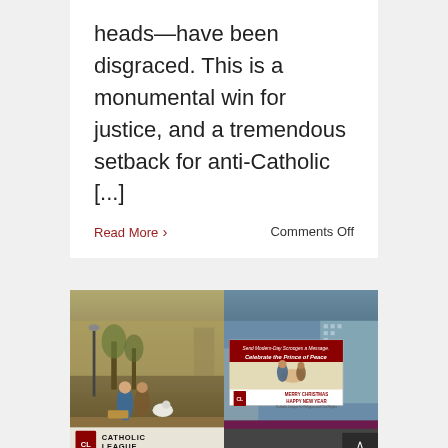heads—have been disgraced. This is a monumental win for justice, and a tremendous setback for anti-Catholic [...]
Read More ›
Comments Off
[Figure (photo): Left half: outdoor nativity scene with figurines of Mary, Joseph, a lamb, and other figures; trees in background; Catholic League shield logo and sign reading 'CATHOLIC LEAGUE For Religion and Civil Rights' at the bottom. Right half: Times Square billboard showing nativity scene with text 'Send Modern-Day Scrooges a Message. Celebrate the Prince of Peace' in red banner, and 'MERRY CHRISTMAS HAPPY NEW YEAR Catholic League for Religion and Civil Rights' below; CL shield logo visible; scroll-up button overlay in bottom right.]